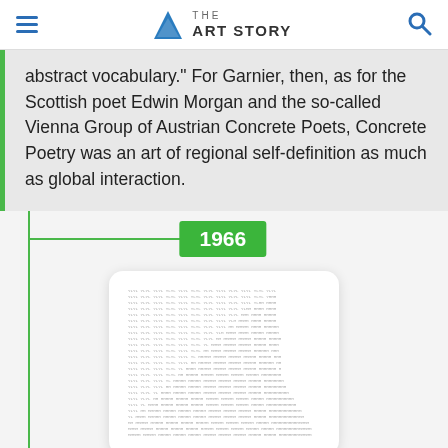THE ART STORY
abstract vocabulary." For Garnier, then, as for the Scottish poet Edwin Morgan and the so-called Vienna Group of Austrian Concrete Poets, Concrete Poetry was an art of regional self-definition as much as global interaction.
1966
[Figure (photo): Artwork image card showing a dense text-pattern artwork (concrete poetry), displayed in a white rounded card with shadow. Below is a label reading 'Artwork Images' with a Google 'G' logo.]